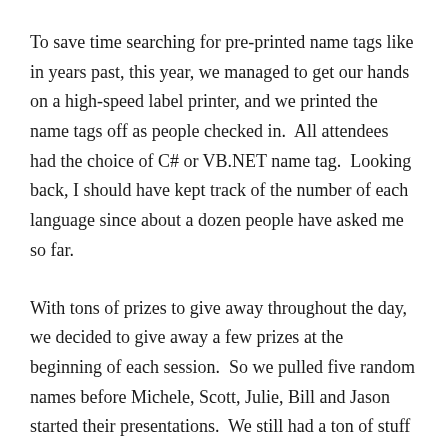To save time searching for pre-printed name tags like in years past, this year, we managed to get our hands on a high-speed label printer, and we printed the name tags off as people checked in.  All attendees had the choice of C# or VB.NET name tag.  Looking back, I should have kept track of the number of each language since about a dozen people have asked me so far.
With tons of prizes to give away throughout the day, we decided to give away a few prizes at the beginning of each session.  So we pulled five random names before Michele, Scott, Julie, Bill and Jason started their presentations.  We still had a ton of stuff to give away at the end of the day, though.